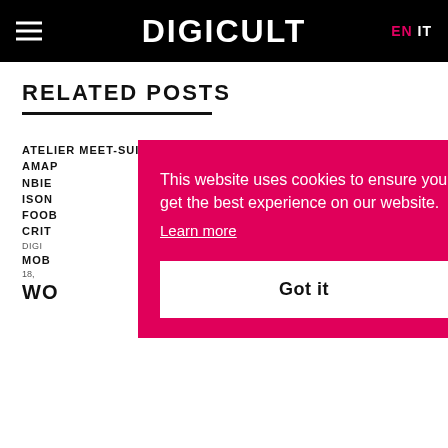DIGICULT EN IT
RELATED POSTS
This website uses cookies to ensure you get the best experience on our website. Learn more
Got it